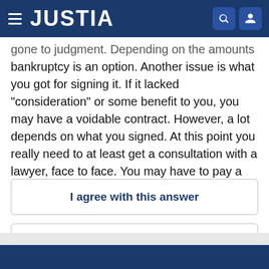JUSTIA
gone to judgment. Depending on the amounts bankruptcy is an option. Another issue is what you got for signing it. If it lacked "consideration" or some benefit to you, you may have a voidable contract. However, a lot depends on what you signed. At this point you really need to at least get a consultation with a lawyer, face to face. You may have to pay a consult fee. Pay it and consult.
I agree with this answer
Report